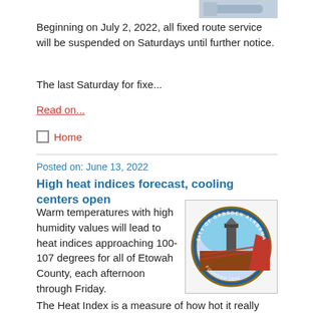[Figure (photo): Partial image in top-right corner, appears to be a bus or vehicle photo, partially visible]
Beginning on July 2, 2022, all fixed route service will be suspended on Saturdays until further notice.
The last Saturday for fixe...
Read on...
Home
Posted on: June 13, 2022
High heat indices forecast, cooling centers open
Warm temperatures with high humidity values will lead to heat indices approaching 100-107 degrees for all of Etowah County, each afternoon through Friday.
[Figure (logo): City of Gadsden Alabama circular seal/logo showing a monument or tower with landscape]
The Heat Index is a measure of how hot it really feels when relative humidity is f...
Read on...